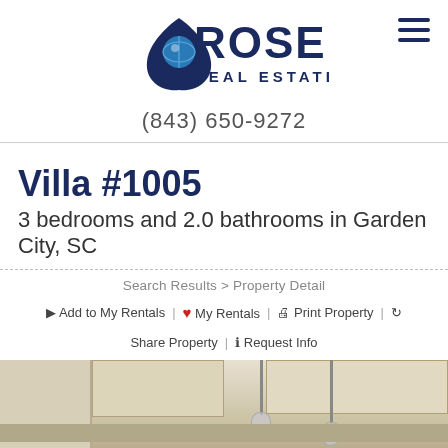[Figure (logo): Rose Real Estate logo with blue house/leaf icon and dark navy text]
(843) 650-9272
Villa #1005
3 bedrooms and 2.0 bathrooms in Garden City, SC
Search Results > Property Detail
Add to My Rentals | My Rentals | Print Property | Share Property | Request Info
[Figure (photo): Interior kitchen photo showing white/cream cabinets, pendant lights, and stainless appliances]